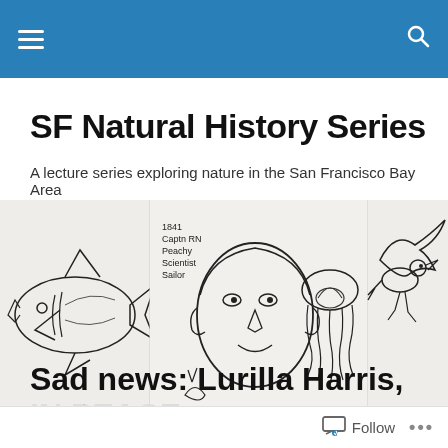SF Natural History Series [navigation bar with hamburger menu and search icon]
SF Natural History Series
A lecture series exploring nature in the San Francisco Bay Area
[Figure (illustration): Hand-drawn sketches showing a shark/whale anatomy diagram on left, a portrait of a person labeled '1841 Captn RN Peachy Scientist Sailor' in center-left, a jellyfish in center-right, and a bird/raven on the right.]
TAGGED WITH AUDIENCE
Sad news: Lurilla Harris, rest
Follow ...